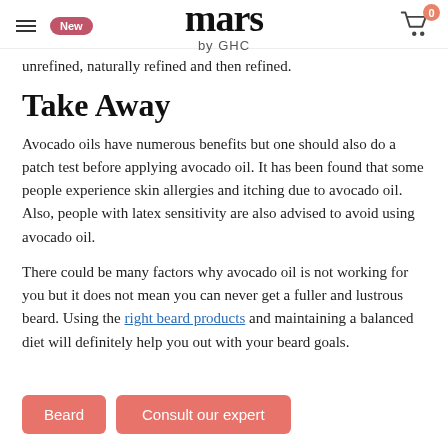mars by GHC
unrefined, naturally refined and then refined.
Take Away
Avocado oils have numerous benefits but one should also do a patch test before applying avocado oil. It has been found that some people experience skin allergies and itching due to avocado oil. Also, people with latex sensitivity are also advised to avoid using avocado oil.
There could be many factors why avocado oil is not working for you but it does not mean you can never get a fuller and lustrous beard. Using the right beard products and maintaining a balanced diet will definitely help you out with your beard goals.
Beard
Consult our expert